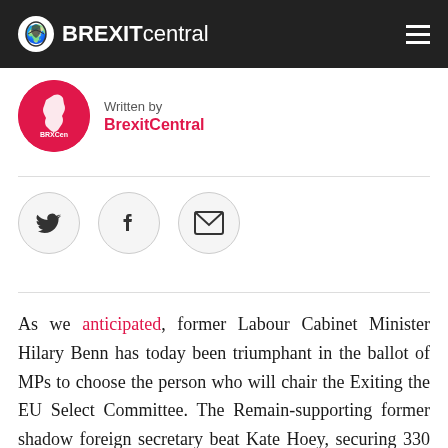BrexitCentral
Written by
BrexitCentral
[Figure (illustration): Social share buttons: Twitter bird icon, Facebook f icon, envelope/email icon, each inside a circular border]
As we anticipated, former Labour Cabinet Minister Hilary Benn has today been triumphant in the ballot of MPs to choose the person who will chair the Exiting the EU Select Committee. The Remain-supporting former shadow foreign secretary beat Kate Hoey, securing 330 votes to the Labour Leaver's 209.